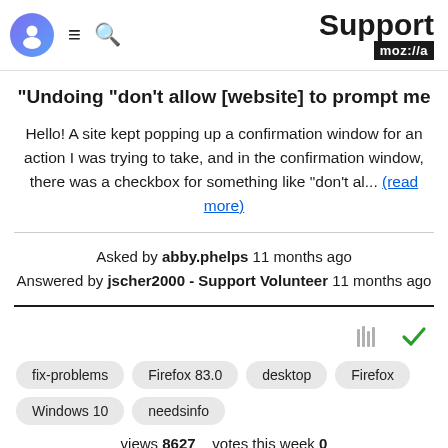Support moz://a
"Undoing "don't allow [website] to prompt me
Hello! A site kept popping up a confirmation window for an action I was trying to take, and in the confirmation window, there was a checkbox for something like "don't al... (read more)
Asked by abby.phelps 11 months ago
Answered by jscher2000 - Support Volunteer 11 months ago
[Figure (other): Archive and checkmark icons]
fix-problems  Firefox 83.0  desktop  Firefox  Windows 10  needsinfo
views 8627  votes this week 0